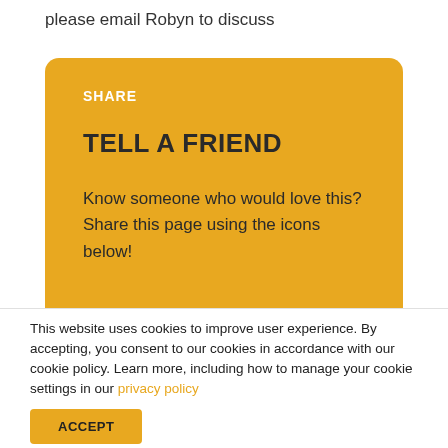please email Robyn to discuss
SHARE
TELL A FRIEND
Know someone who would love this? Share this page using the icons below!
This website uses cookies to improve user experience. By accepting, you consent to our cookies in accordance with our cookie policy. Learn more, including how to manage your cookie settings in our privacy policy
ACCEPT